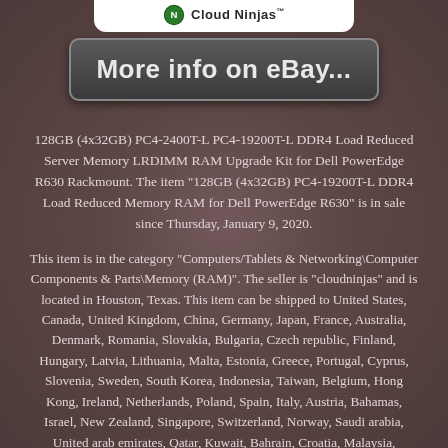[Figure (logo): Cloud Ninjas logo with green circular emblem and text 'Cloud Ninjas™' on white background]
More info on eBay...
128GB (4x32GB) PC4-2400T-L PC4-19200T-L DDR4 Load Reduced Server Memory LRDIMM RAM Upgrade Kit for Dell PowerEdge R630 Rackmount. The item "128GB (4x32GB) PC4-19200T-L DDR4 Load Reduced Memory RAM for Dell PowerEdge R630" is in sale since Thursday, January 9, 2020.
This item is in the category "Computers/Tablets & Networking\Computer Components & Parts\Memory (RAM)". The seller is "cloudninjas" and is located in Houston, Texas. This item can be shipped to United States, Canada, United Kingdom, China, Germany, Japan, France, Australia, Denmark, Romania, Slovakia, Bulgaria, Czech republic, Finland, Hungary, Latvia, Lithuania, Malta, Estonia, Greece, Portugal, Cyprus, Slovenia, Sweden, South Korea, Indonesia, Taiwan, Belgium, Hong Kong, Ireland, Netherlands, Poland, Spain, Italy, Austria, Bahamas, Israel, New Zealand, Singapore, Switzerland, Norway, Saudi arabia, United arab emirates, Qatar, Kuwait, Bahrain, Croatia, Malaysia, Barbados, Bangladesh,